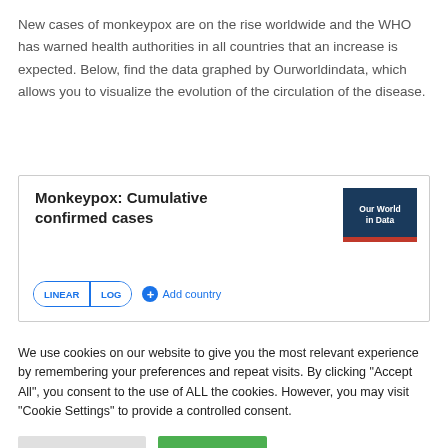New cases of monkeypox are on the rise worldwide and the WHO has warned health authorities in all countries that an increase is expected. Below, find the data graphed by Ourworldindata, which allows you to visualize the evolution of the circulation of the disease.
[Figure (screenshot): Our World in Data interactive chart widget showing 'Monkeypox: Cumulative confirmed cases' with LINEAR/LOG toggle buttons and an Add country button. The Our World in Data logo appears in the top right of the widget.]
We use cookies on our website to give you the most relevant experience by remembering your preferences and repeat visits. By clicking "Accept All", you consent to the use of ALL the cookies. However, you may visit "Cookie Settings" to provide a controlled consent.